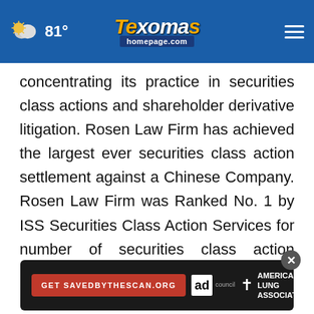81° Texoma's homepage.com
concentrating its practice in securities class actions and shareholder derivative litigation. Rosen Law Firm has achieved the largest ever securities class action settlement against a Chinese Company. Rosen Law Firm was Ranked No. 1 by ISS Securities Class Action Services for number of securities class action settlements in 2017. The firm has been ranked in the top 4 each year since 2013 and has recovered hundreds of millions of dollars for investors. In 2019 alone the firm recovered over $438 million for investors.
[Figure (screenshot): Ad banner: 'Get SAVEDBYTHESCAN.ORG' button with Ad Council logo and American Lung Association branding on dark background]